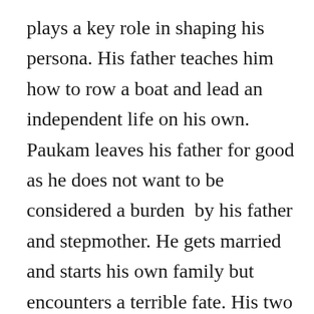plays a key role in shaping his persona. His father teaches him how to row a boat and lead an independent life on his own. Paukam leaves his father for good as he does not want to be considered a burden  by his father and stepmother. He gets married and starts his own family but encounters a terrible fate. His two sons leave him to start their own families, his daughter elopes and finally, his beloved boat is swallowed by the river. However, his wife remains his constant companion throughout the film and displays the fact that mutual love and caring between a husband and wife is the central pillar holding up the